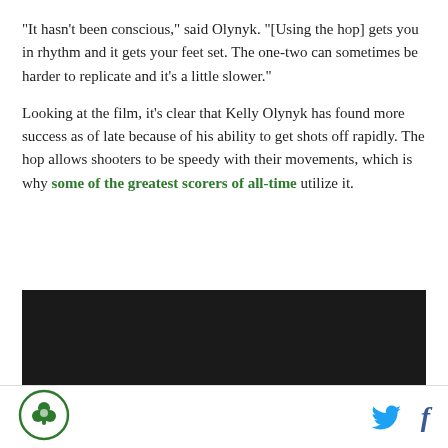"It hasn't been conscious," said Olynyk. "[Using the hop] gets you in rhythm and it gets your feet set. The one-two can sometimes be harder to replicate and it's a little slower."
Looking at the film, it's clear that Kelly Olynyk has found more success as of late because of his ability to get shots off rapidly. The hop allows shooters to be speedy with their movements, which is why some of the greatest scorers of all-time utilize it.
[Figure (other): Dark/black video embed block]
[Figure (logo): Circular green logo with shamrock/clover emblem]
[Figure (other): Twitter bird icon and Facebook f icon for social sharing]